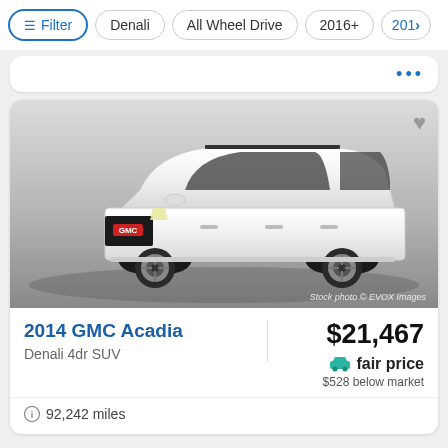Filter | Denali | All Wheel Drive | 2016+ | 201>
[Figure (screenshot): White 2014 GMC Acadia Denali SUV side profile stock photo on grey gradient background. Stock photo © EVOX Images watermark in bottom right.]
2014 GMC Acadia
Denali 4dr SUV
$21,467
fair price
$528 below market
92,242 miles